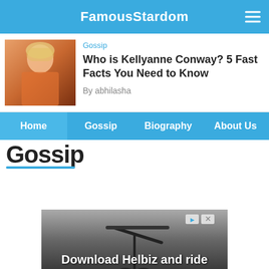FamousStardom
Gossip
Who is Kellyanne Conway? 5 Fast Facts You Need to Know
By abhilasha
Home   Gossip   Biography   About Us
Gossip
[Figure (photo): Advertisement image showing a scooter with text 'Download Helbiz and ride']